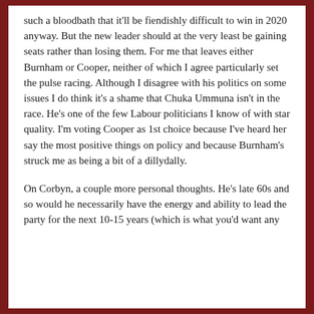such a bloodbath that it'll be fiendishly difficult to win in 2020 anyway. But the new leader should at the very least be gaining seats rather than losing them. For me that leaves either Burnham or Cooper, neither of which I agree particularly set the pulse racing. Although I disagree with his politics on some issues I do think it's a shame that Chuka Ummuna isn't in the race. He's one of the few Labour politicians I know of with star quality. I'm voting Cooper as 1st choice because I've heard her say the most positive things on policy and because Burnham's struck me as being a bit of a dillydally.
On Corbyn, a couple more personal thoughts. He's late 60s and so would he necessarily have the energy and ability to lead the party for the next 10-15 years (which is what you'd want any